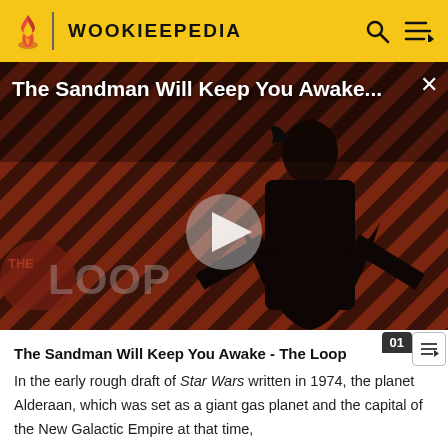WOOKIEEPEDIA
[Figure (screenshot): Video thumbnail showing a dark-cloaked figure against a red diagonal striped background. Title overlay reads 'The Sandman Will Keep You Awake...' with a play button and 'THE LOOP' logo watermark.]
The Sandman Will Keep You Awake - The Loop
In the early rough draft of Star Wars written in 1974, the planet Alderaan, which was set as a giant gas planet and the capital of the New Galactic Empire at that time,